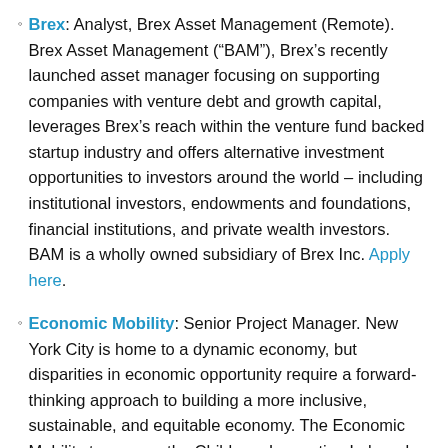Brex: Analyst, Brex Asset Management (Remote). Brex Asset Management (“BAM”), Brex’s recently launched asset manager focusing on supporting companies with venture debt and growth capital, leverages Brex’s reach within the venture fund backed startup industry and offers alternative investment opportunities to investors around the world – including institutional investors, endowments and foundations, financial institutions, and private wealth investors. BAM is a wholly owned subsidiary of Brex Inc. Apply here.
Economic Mobility: Senior Project Manager. New York City is home to a dynamic economy, but disparities in economic opportunity require a forward-thinking approach to building a more inclusive, sustainable, and equitable economy. The Economic Mobility team runs the Childcare Innovation Lab and leads investments, initiatives, and